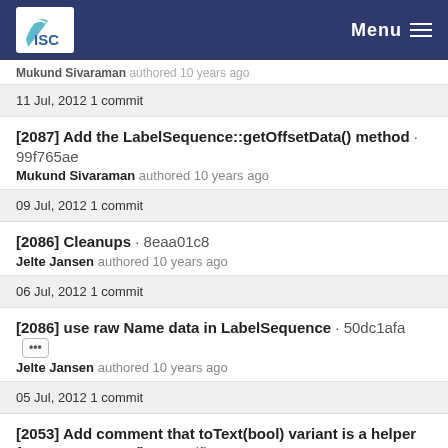ISC | Menu
Mukund Sivaraman authored 10 years ago
11 Jul, 2012 1 commit
[2087] Add the LabelSequence::getOffsetData() method · 99f765ae
Mukund Sivaraman authored 10 years ago
09 Jul, 2012 1 commit
[2086] Cleanups · 8eaa01c8
Jelte Jansen authored 10 years ago
06 Jul, 2012 1 commit
[2086] use raw Name data in LabelSequence · 50dc1afa
Jelte Jansen authored 10 years ago
05 Jul, 2012 1 commit
[2053] Add comment that toText(bool) variant is a helper for Name::toText() · 9771dfb0